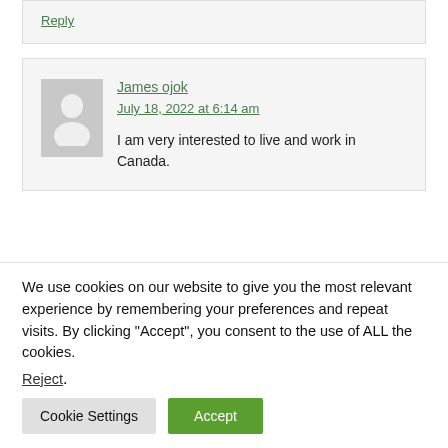Reply
James ojok
July 18, 2022 at 6:14 am
I am very interested to live and work in Canada.
We use cookies on our website to give you the most relevant experience by remembering your preferences and repeat visits. By clicking “Accept”, you consent to the use of ALL the cookies.
Reject.
Cookie Settings
Accept